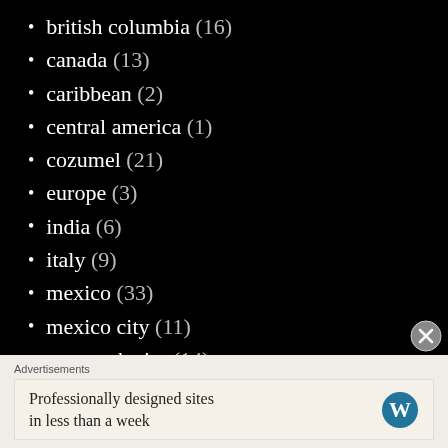british columbia (16)
canada (13)
caribbean (2)
central america (1)
cozumel (21)
europe (3)
india (6)
italy (9)
mexico (33)
mexico city (11)
new york city (14)
riviera maya (15)
south america (26)
Advertisements
Professionally designed sites in less than a week